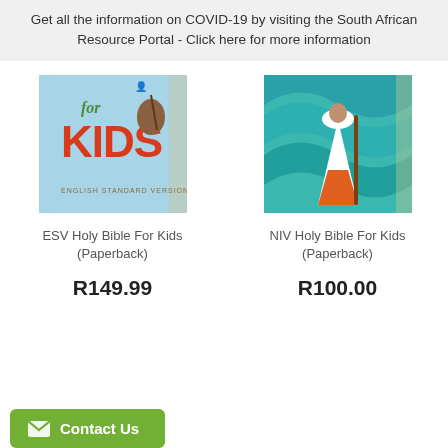Get all the information on COVID-19 by visiting the South African Resource Portal - Click here for more information
[Figure (photo): ESV Holy Bible For Kids book cover - light blue background with colourful illustrated characters and large red KIDS text]
ESV Holy Bible For Kids (Paperback)
R149.99
[Figure (photo): NIV Holy Bible For Kids book cover - teal/turquoise swirling background with illustrated figure in white and orange robes]
NIV Holy Bible For Kids (Paperback)
R100.00
Contact Us